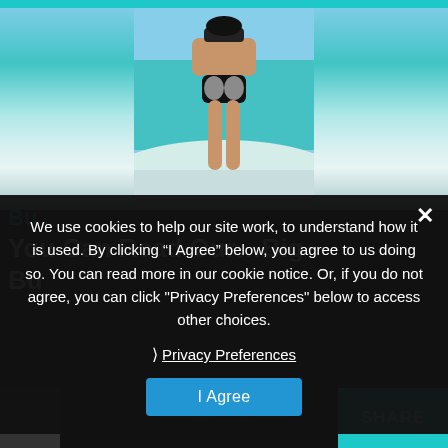[Figure (photo): Photo of a person from behind standing at a beach with turquoise water, wearing swimwear. Teal header bar at the top.]
We use cookies to help our site work, to understand how it is used. By clicking “I Agree” below, you agree to us doing so. You can read more in our cookie notice. Or, if you do not agree, you can click "Privacy Preferences" below to access other choices.
❯ Privacy Preferences
I Agree
SHARE